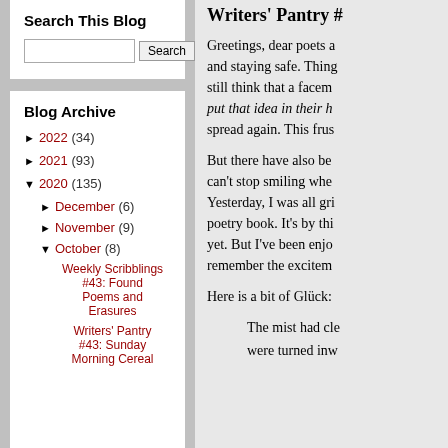Search This Blog
Search
Blog Archive
► 2022 (34)
► 2021 (93)
▼ 2020 (135)
► December (6)
► November (9)
▼ October (8)
Weekly Scribblings #43: Found Poems and Erasures
Writers' Pantry #43: Sunday Morning Cereal
Writers' Pantry #
Greetings, dear poets a and staying safe. Thing still think that a facem put that idea in their h spread again. This frus
But there have also be can't stop smiling whe Yesterday, I was all gri poetry book. It's by thi yet. But I've been enjo remember the excitem
Here is a bit of Glück:
The mist had cle were turned inw